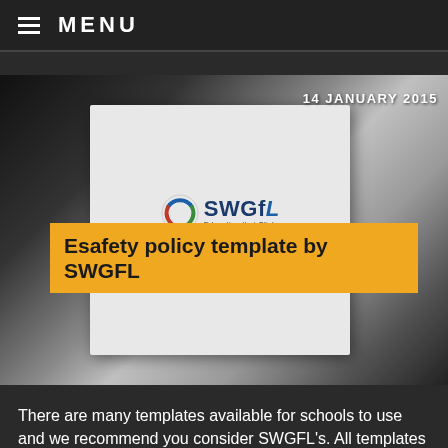≡ MENU
14 JANUARY 2015
[Figure (photo): Photo of a printed SWGfL School Online Safety Template Policy document cover, showing the SWGfL logo and tagline 'Education that Clicks']
Esafety policy template by SWGFL
There are many templates available for schools to use and we recommend you consider SWGFL's. All templates need to be tailored to your specific needs